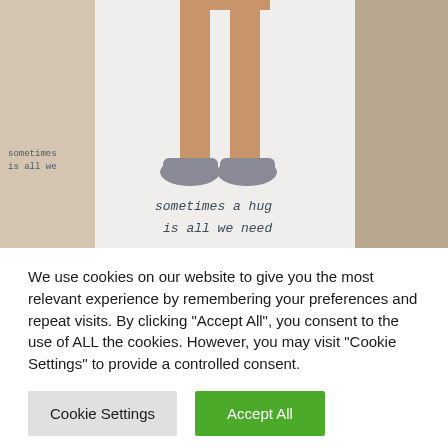[Figure (photo): Photo of a white cylindrical mug with an illustration of legs and feet wearing grey shoes, and handwritten-style text reading 'sometimes a hug is all we need'. A second partial mug is visible on the left. Background is a warm brown/beige room.]
We use cookies on our website to give you the most relevant experience by remembering your preferences and repeat visits. By clicking "Accept All", you consent to the use of ALL the cookies. However, you may visit "Cookie Settings" to provide a controlled consent.